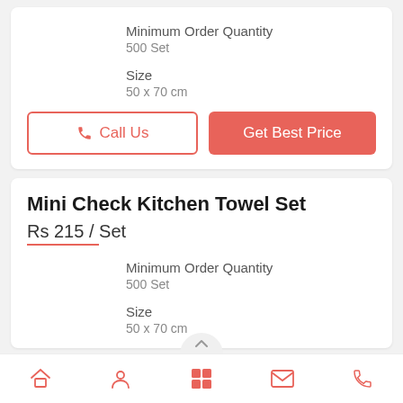Minimum Order Quantity
500 Set
Size
50 x 70 cm
Call Us
Get Best Price
Mini Check Kitchen Towel Set
Rs 215 / Set
Minimum Order Quantity
500 Set
Size
50 x 70 cm